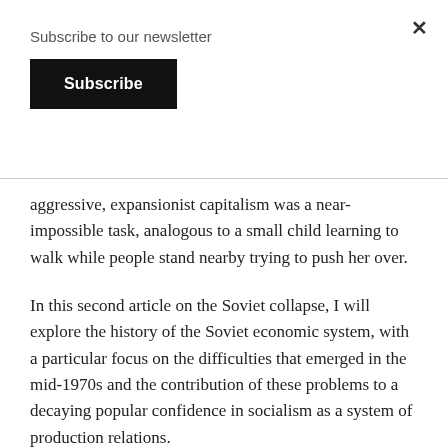Subscribe to our newsletter
Subscribe
aggressive, expansionist capitalism was a near-impossible task, analogous to a small child learning to walk while people stand nearby trying to push her over.
In this second article on the Soviet collapse, I will explore the history of the Soviet economic system, with a particular focus on the difficulties that emerged in the mid-1970s and the contribution of these problems to a decaying popular confidence in socialism as a system of production relations.